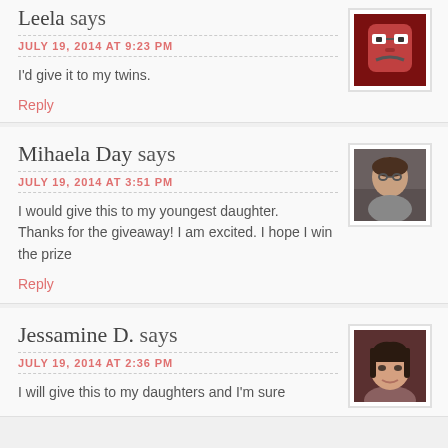Leela says
JULY 19, 2014 AT 9:23 PM
I'd give it to my twins.
Reply
[Figure (illustration): Avatar - cartoon face with glasses on dark red background]
Mihaela Day says
JULY 19, 2014 AT 3:51 PM
I would give this to my youngest daughter.
Thanks for the giveaway! I am excited. I hope I win the prize
Reply
[Figure (photo): Avatar photo of a person wearing glasses]
Jessamine D. says
JULY 19, 2014 AT 2:36 PM
I will give this to my daughters and I'm sure
[Figure (photo): Avatar photo of a woman with dark hair]